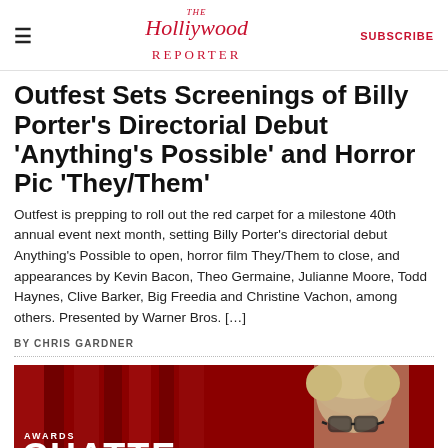The Hollywood Reporter | SUBSCRIBE
Outfest Sets Screenings of Billy Porter's Directorial Debut 'Anything's Possible' and Horror Pic 'They/Them'
Outfest is prepping to roll out the red carpet for a milestone 40th annual event next month, setting Billy Porter's directorial debut Anything's Possible to open, horror film They/Them to close, and appearances by Kevin Bacon, Theo Germaine, Julianne Moore, Todd Haynes, Clive Barker, Big Freedia and Christine Vachon, among others. Presented by Warner Bros. [...]
BY CHRIS GARDNER
[Figure (photo): Promotional image for Awards Chatter segment, showing a person with glasses and light hair against a red curtain background, with text overlaid reading AWARDS CHATTER]